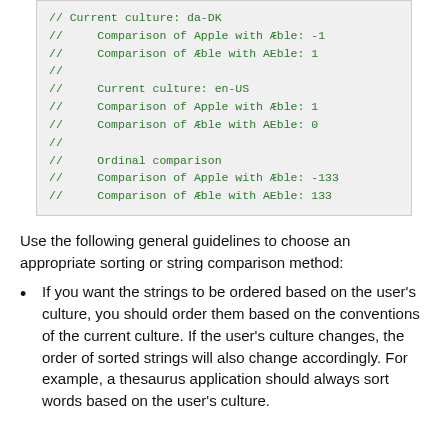[Figure (screenshot): Code output block showing culture-based string comparison results in green monospace text on gray background]
Use the following general guidelines to choose an appropriate sorting or string comparison method:
If you want the strings to be ordered based on the user's culture, you should order them based on the conventions of the current culture. If the user's culture changes, the order of sorted strings will also change accordingly. For example, a thesaurus application should always sort words based on the user's culture.